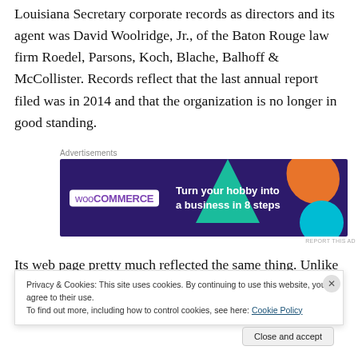Louisiana Secretary corporate records as directors and its agent was David Woolridge, Jr., of the Baton Rouge law firm Roedel, Parsons, Koch, Blache, Balhoff & McCollister. Records reflect that the last annual report filed was in 2014 and that the organization is no longer in good standing.
[Figure (other): WooCommerce advertisement banner with dark purple background, geometric shapes, and text 'Turn your hobby into a business in 8 steps']
Its web page pretty much reflected the same thing. Unlike
Privacy & Cookies: This site uses cookies. By continuing to use this website, you agree to their use.
To find out more, including how to control cookies, see here: Cookie Policy